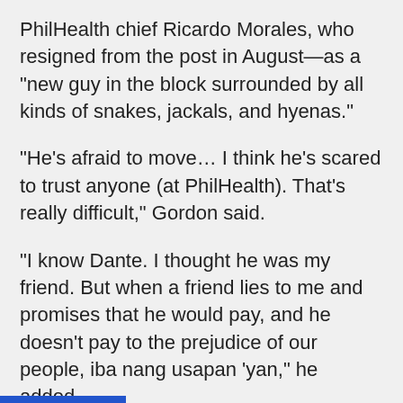PhilHealth chief Ricardo Morales, who resigned from the post in August—as a "new guy in the block surrounded by all kinds of snakes, jackals, and hyenas."
"He's afraid to move… I think he's scared to trust anyone (at PhilHealth). That's really difficult," Gordon said.
"I know Dante. I thought he was my friend. But when a friend lies to me and promises that he would pay, and he doesn't pay to the prejudice of our people, iba nang usapan 'yan," he added.
Gordon said PhilHealth should realize the dangerous impact of its unsettled debt is in terms of the COVID-19 testing in the country, as the senator responded to the OCTA Research Team's